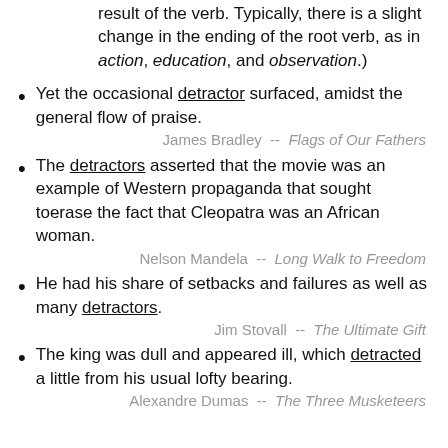result of the verb. Typically, there is a slight change in the ending of the root verb, as in action, education, and observation.)
Yet the occasional detractor surfaced, amidst the general flow of praise.
James Bradley  --  Flags of Our Fathers
The detractors asserted that the movie was an example of Western propaganda that sought toerase the fact that Cleopatra was an African woman.
Nelson Mandela  --  Long Walk to Freedom
He had his share of setbacks and failures as well as many detractors.
Jim Stovall  --  The Ultimate Gift
The king was dull and appeared ill, which detracted a little from his usual lofty bearing.
Alexandre Dumas  --  The Three Musketeers